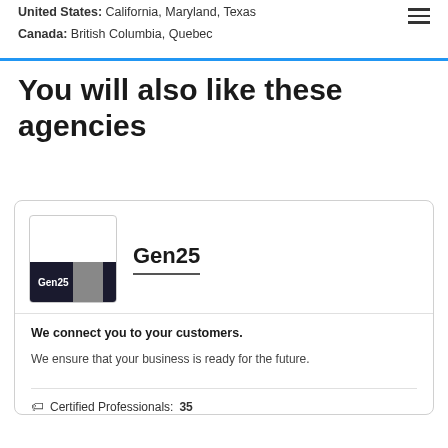United States: California, Maryland, Texas
Canada: British Columbia, Quebec
You will also like these agencies
Gen25
We connect you to your customers.
We ensure that your business is ready for the future.
Certified Professionals: 35